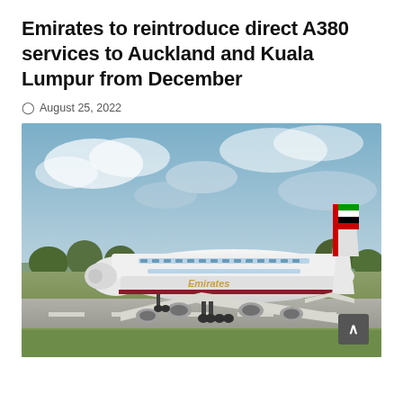Emirates to reintroduce direct A380 services to Auckland and Kuala Lumpur from December
August 25, 2022
[Figure (photo): An Emirates A380 aircraft on a runway, taking off or taxiing, with green grass and trees in the background under a partly cloudy blue sky. The Emirates logo and livery are visible on the fuselage and tail.]